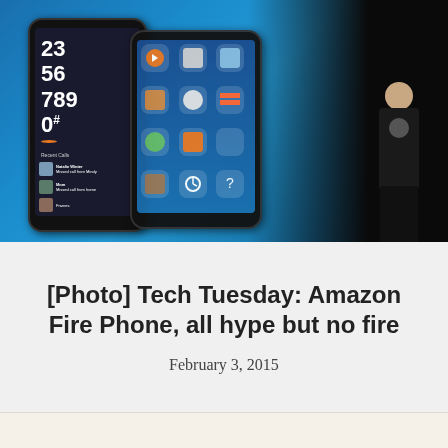[Figure (photo): A presenter (Jeff Bezos) standing on a dark stage next to a large projection screen showing two Amazon Fire Phone handsets against a blue gradient background. The left phone displays a dialer with large digits 23, 56, 789, 0 and recent calls. The right phone shows a home screen grid of app icons.]
[Photo] Tech Tuesday: Amazon Fire Phone, all hype but no fire
February 3, 2015
[Figure (photo): Partial view of a beige/cream colored image at the bottom of the page, content not fully visible.]